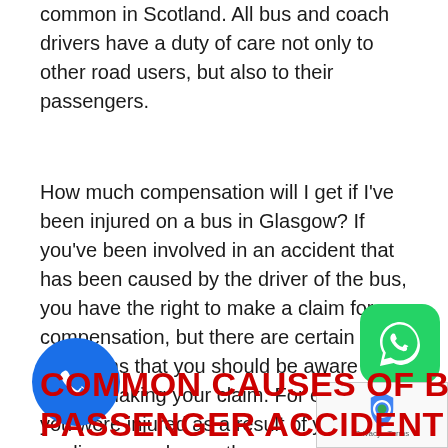common in Scotland. All bus and coach drivers have a duty of care not only to other road users, but also to their passengers.
How much compensation will I get if I've been injured on a bus in Glasgow? If you've been involved in an accident that has been caused by the driver of the bus, you have the right to make a claim for compensation, but there are certain limitations that you should be aware of before making your claim. For example, if you were injured as a result of your own negligence or by another passenger, then will not be entitled to make a bus injury claim.
COMMON CAUSES OF BUS PASSENGER ACCIDENT